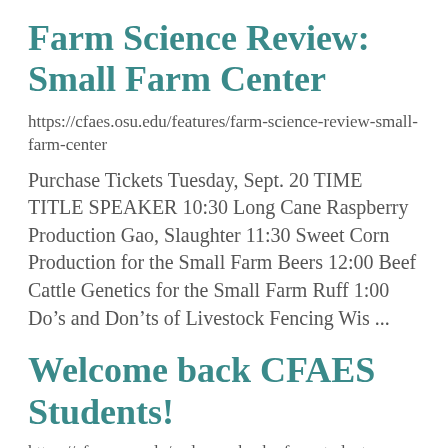Farm Science Review: Small Farm Center
https://cfaes.osu.edu/features/farm-science-review-small-farm-center
Purchase Tickets Tuesday, Sept. 20 TIME TITLE SPEAKER 10:30 Long Cane Raspberry Production Gao, Slaughter 11:30 Sweet Corn Production for the Small Farm Beers 12:00 Beef Cattle Genetics for the Small Farm Ruff 1:00 Do’s and Don’ts of Livestock Fencing Wis ...
Welcome back CFAES Students!
https://cfaes.osu.edu/welcome-back-cfaes-students